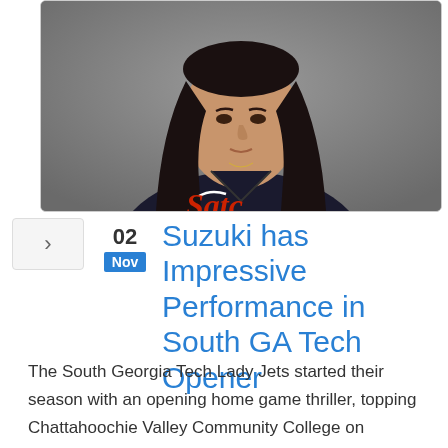[Figure (photo): Headshot photo of a female basketball player wearing a dark Satc jersey with a Nike logo, long dark hair, against a gray background.]
Suzuki has Impressive Performance in South GA Tech Opener
The South Georgia Tech Lady Jets started their season with an opening home game thriller, topping Chattahoochie Valley Community College on November 1st.  With only one returning player and two freshman point guards, South GA Tech used timely